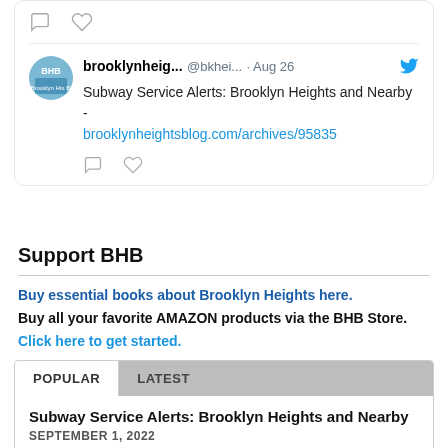[Figure (screenshot): Tweet card from brooklynheig... (@bkhei...) dated Aug 26, about Subway Service Alerts: Brooklyn Heights and Nearby with a link to brooklynheightsblog.com/archives/95835. BHB avatar logo shown. Comment and heart icons at top and bottom.]
Support BHB
Buy essential books about Brooklyn Heights here. Buy all your favorite AMAZON products via the BHB Store. Click here to get started.
[Figure (screenshot): Tab widget with POPULAR and LATEST tabs. POPULAR tab is active (white background). Content shows: Subway Service Alerts: Brooklyn Heights and Nearby, SEPTEMBER 1, 2022]